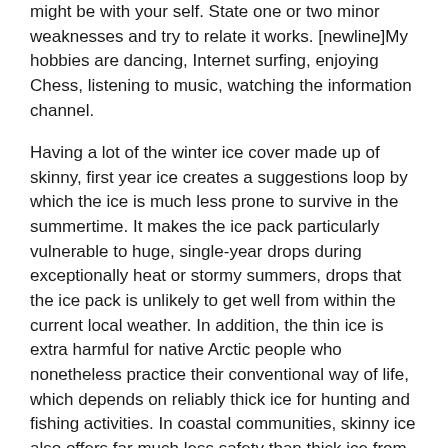might be with your self. State one or two minor weaknesses and try to relate it works. [newline]My hobbies are dancing, Internet surfing, enjoying Chess, listening to music, watching the information channel.
Having a lot of the winter ice cover made up of skinny, first year ice creates a suggestions loop by which the ice is much less prone to survive in the summertime. It makes the ice pack particularly vulnerable to huge, single-year drops during exceptionally heat or stormy summers, drops that the ice pack is unlikely to get well from within the current local weather. In addition, the thin ice is extra harmful for native Arctic people who nonetheless practice their conventional way of life, which depends on reliably thick ice for hunting and fishing activities. In coastal communities, skinny ice also offers far much less safety than thick ice from the pounding surf that accompanies fall and winter storms. Everyone within the automotive can take turns asking yes-or-no questions about what it's, or who it's, you may be thinking of.